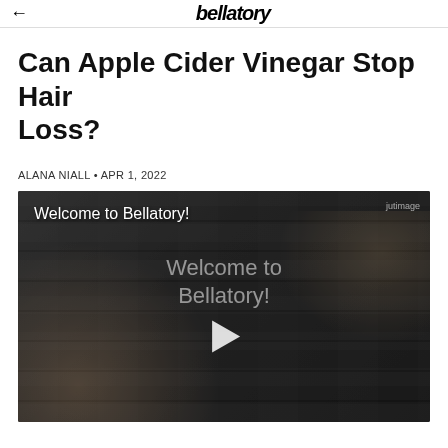Bellatory
Can Apple Cider Vinegar Stop Hair Loss?
ALANA NIALL • APR 1, 2022
[Figure (screenshot): Video thumbnail showing a hair treatment scene with a person's head and gloved hands, overlaid with the text 'Welcome to Bellatory!' and a play button in the center. A semi-transparent 'Welcome to Bellatory!' text appears behind the play button.]